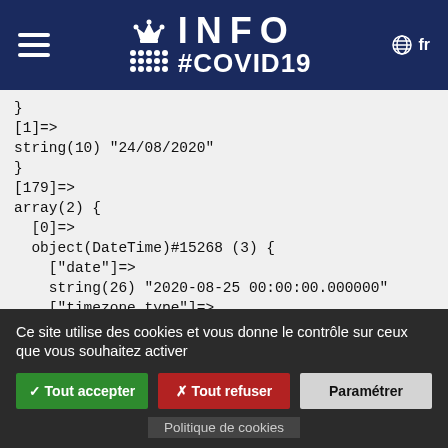INFO #COVID19 fr
}
[1]=>
string(10) "24/08/2020"
}
[179]=>
array(2) {
  [0]=>
  object(DateTime)#15268 (3) {
    ["date"]=>
    string(26) "2020-08-25 00:00:00.000000"
    ["timezone_type"]=>
    int(3)
    ["timezone"]=>
    string(3) "UTC"
  }
  [1]=>
Ce site utilise des cookies et vous donne le contrôle sur ceux que vous souhaitez activer
✓ Tout accepter  ✗ Tout refuser  Paramétrer
Politique de cookies